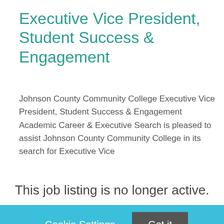Executive Vice President, Student Success & Engagement
Johnson County Community College Executive Vice President, Student Success & Engagement Academic Career & Executive Search is pleased to assist Johnson County Community College in its search for Executive Vice
This job listing is no longer active.
Cookie Settings   Got it
We use cookies so that we can remember you and understand how you use our site. If you do not agree with our use of cookies, please change the current settings found in our Cookie Policy. Otherwise, you agree to the use of the cookies as they are currently set.